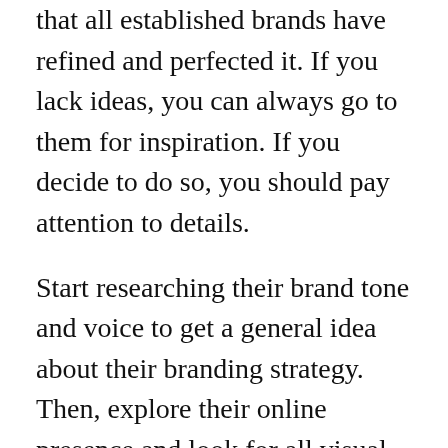that all established brands have refined and perfected it. If you lack ideas, you can always go to them for inspiration. If you decide to do so, you should pay attention to details.
Start researching their brand tone and voice to get a general idea about their branding strategy. Then, explore their online presence and look for all visual cues that align with their brand voice. Besides the brand that we've covered so far, some other noteworthy examples include the following.
Uber leverages minimalist graphic elements with